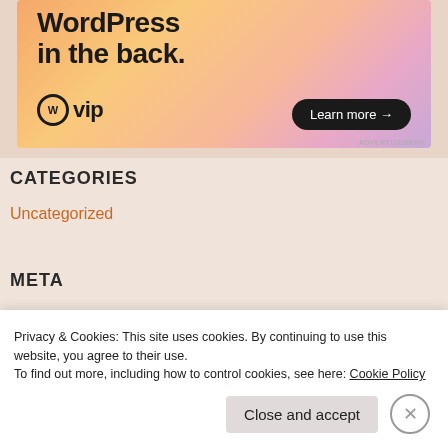[Figure (illustration): WordPress VIP advertisement banner with colorful gradient background showing 'WordPress in the back.' text with WordPress VIP logo and 'Learn more →' button]
CATEGORIES
Uncategorized
META
Privacy & Cookies: This site uses cookies. By continuing to use this website, you agree to their use.
To find out more, including how to control cookies, see here: Cookie Policy